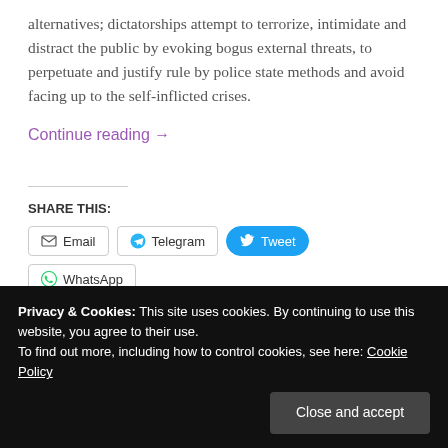alternatives; dictatorships attempt to terrorize, intimidate and distract the public by evoking bogus external threats, to perpetuate and justify rule by police state methods and avoid facing up to the self-inflicted crises.
Continue reading →
SHARE THIS:
Email | Telegram | Tweet | WhatsApp | More
Privacy & Cookies: This site uses cookies. By continuing to use this website, you agree to their use.
To find out more, including how to control cookies, see here: Cookie Policy
Close and accept